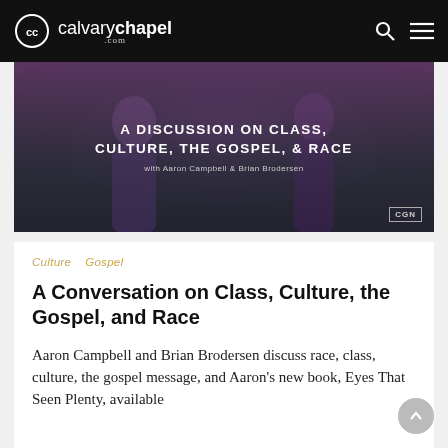calvarychapel.com
[Figure (illustration): Dark purple/grey video thumbnail showing two people in discussion on stage with text overlay: 'A DISCUSSION ON CLASS, CULTURE, THE GOSPEL, & RACE with Aaron Campbell & Brian Brodersen' and CGN badge in bottom-right corner.]
Culture   Gospel
A Conversation on Class, Culture, the Gospel, and Race
Aaron Campbell and Brian Brodersen discuss race, class, culture, the gospel message, and Aaron's new book, Eyes That Seen Plenty, available